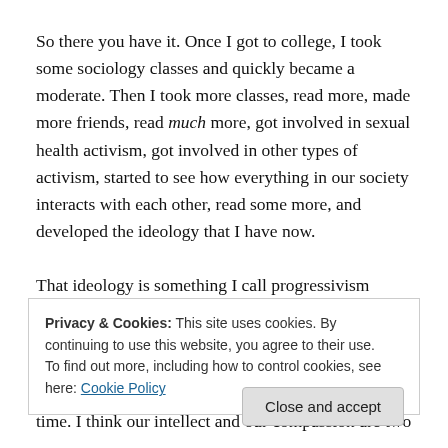So there you have it. Once I got to college, I took some sociology classes and quickly became a moderate. Then I took more classes, read more, made more friends, read much more, got involved in sexual health activism, got involved in other types of activism, started to see how everything in our society interacts with each other, read some more, and developed the ideology that I have now.
That ideology is something I call progressivism because I
Privacy & Cookies: This site uses cookies. By continuing to use this website, you agree to their use.
To find out more, including how to control cookies, see here: Cookie Policy
Close and accept
time. I think our intellect and our compassion are two